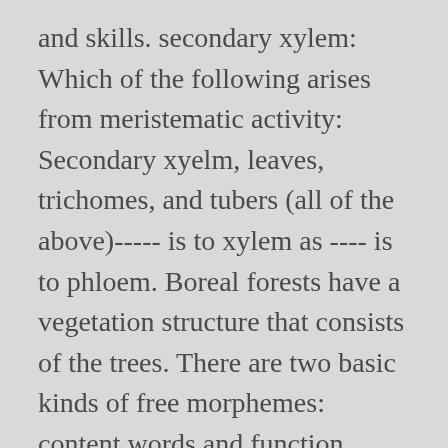and skills. secondary xylem: Which of the following arises from meristematic activity: Secondary xyelm, leaves, trichomes, and tubers (all of the above)----- is to xylem as ---- is to phloem. Boreal forests have a vegetation structure that consists of the trees. There are two basic kinds of free morphemes: content words and function words. Water and mineral nutrients--the so-called sap flow--travel from the roots to the top of the tree within a layer of wood found under the bark. Cortex, in plants, tissue of unspecialized cells lying between the epidermis (surface cells) and the vascular, or conducting, tissues of stems and roots. Some